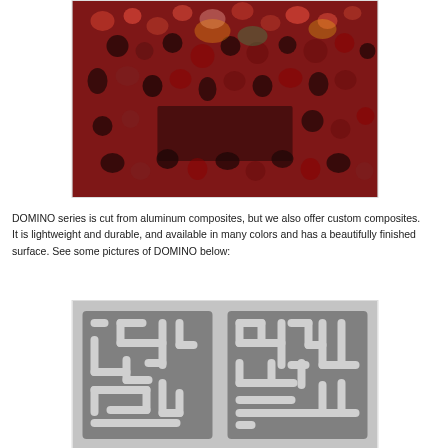[Figure (photo): Interior architectural photo showing red laser-cut aluminum composite panels forming decorative screens/partitions around a dining table. The panels have an intricate organic hole pattern, lit with colorful backlighting.]
DOMINO series is cut from aluminum composites, but we also offer custom composites.
It is lightweight and durable, and available in many colors and has a beautifully finished surface. See some pictures of DOMINO below:
[Figure (photo): Black and white photo showing gray aluminum composite panels with a maze-like rectangular cut pattern, resembling domino or puzzle pieces arranged as decorative screens.]